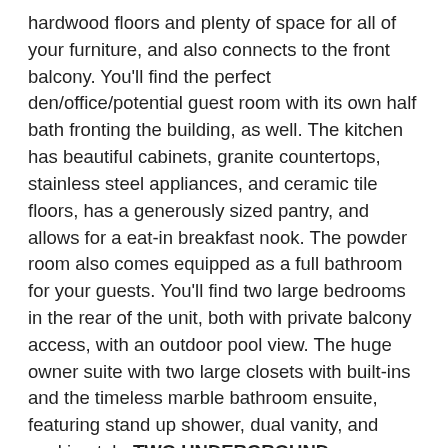hardwood floors and plenty of space for all of your furniture, and also connects to the front balcony. You'll find the perfect den/office/potential guest room with its own half bath fronting the building, as well. The kitchen has beautiful cabinets, granite countertops, stainless steel appliances, and ceramic tile floors, has a generously sized pantry, and allows for a eat-in breakfast nook. The powder room also comes equipped as a full bathroom for your guests. You'll find two large bedrooms in the rear of the unit, both with private balcony access, with an outdoor pool view. The huge owner suite with two large closets with built-ins and the timeless marble bathroom ensuite, featuring stand up shower, dual vanity, and soaking tub. TWO UNDERGROUND COVERED GARAGE SPACES CONVEY and don't forget to ask about the storage unit. Luxurious building amenities include 24-hour security, concierge, outdoor pool, indoor pool, sauna, community room, exercise room, library, meeting room and much more. Minutes to the White House, Pentagon and National Airport. Walk to Amazons East Coast Headquarters, Crystal City shops, restaurants and offices. The best of it all is its walkable and